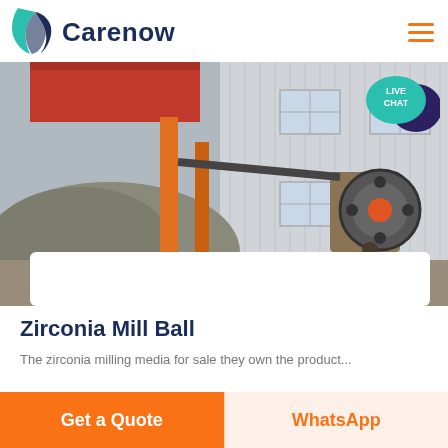Carenow
[Figure (photo): Industrial mining/crushing equipment facility showing orange/red machinery, a large conveyor or pile of aggregate material, a crusher with flywheel, and a corrugated metal building in the background. A person is visible working near the machinery. Watermark text 'AS THIDE' is partially visible.]
Zirconia Mill Ball
The zirconia milling media for sale they own the product...